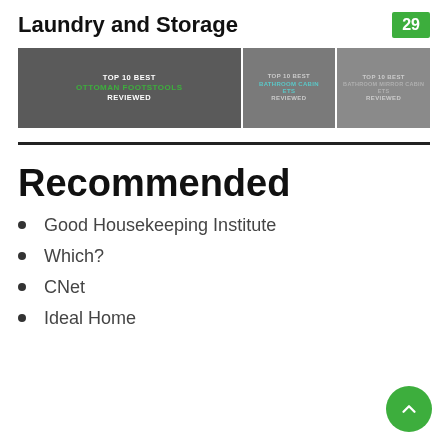Laundry and Storage
[Figure (screenshot): Three thumbnail images side by side showing 'TOP 10 BEST OTTOMAN FOOTSTOOLS REVIEWED', 'TOP 10 BEST BATHROOM CABINETS REVIEWED', and 'TOP 10 BEST BATHROOM MIRROR CABINETS REVIEWED']
Recommended
Good Housekeeping Institute
Which?
CNet
Ideal Home